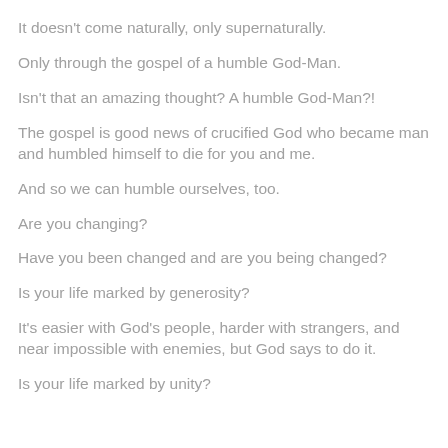It doesn't come naturally, only supernaturally.
Only through the gospel of a humble God-Man.
Isn't that an amazing thought? A humble God-Man?!
The gospel is good news of crucified God who became man and humbled himself to die for you and me.
And so we can humble ourselves, too.
Are you changing?
Have you been changed and are you being changed?
Is your life marked by generosity?
It's easier with God's people, harder with strangers, and near impossible with enemies, but God says to do it.
Is your life marked by unity?